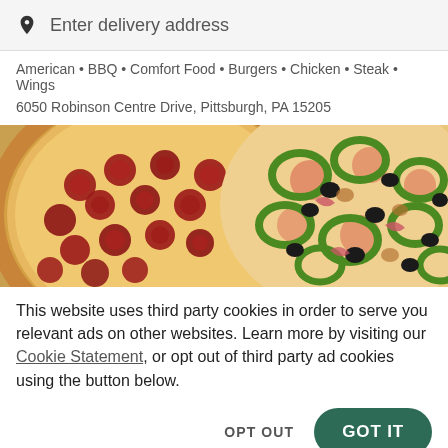Enter delivery address
American • BBQ • Comfort Food • Burgers • Chicken • Steak • Wings
6050 Robinson Centre Drive, Pittsburgh, PA 15205
[Figure (photo): Two pizzas side by side: pepperoni pizza on the left and a veggie pizza with green peppers, black olives, and red onions on the right]
This website uses third party cookies in order to serve you relevant ads on other websites. Learn more by visiting our Cookie Statement, or opt out of third party ad cookies using the button below.
OPT OUT
GOT IT